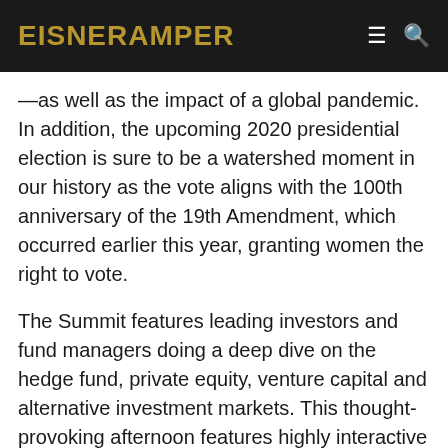EisnerAmper
—as well as the impact of a global pandemic. In addition, the upcoming 2020 presidential election is sure to be a watershed moment in our history as the vote aligns with the 100th anniversary of the 19th Amendment, which occurred earlier this year, granting women the right to vote.
The Summit features leading investors and fund managers doing a deep dive on the hedge fund, private equity, venture capital and alternative investment markets. This thought-provoking afternoon features highly interactive concurrent LP, hedge fund and private equity panel discussions that will cover issues and insights affecting the alternative